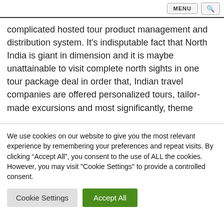MENU [search icon]
complicated hosted tour product management and distribution system. It’s indisputable fact that North India is giant in dimension and it is maybe unattainable to visit complete north sights in one tour package deal in order that, Indian travel companies are offered personalized tours, tailor-made excursions and most significantly, theme
We use cookies on our website to give you the most relevant experience by remembering your preferences and repeat visits. By clicking “Accept All”, you consent to the use of ALL the cookies. However, you may visit "Cookie Settings" to provide a controlled consent.
Cookie Settings
Accept All